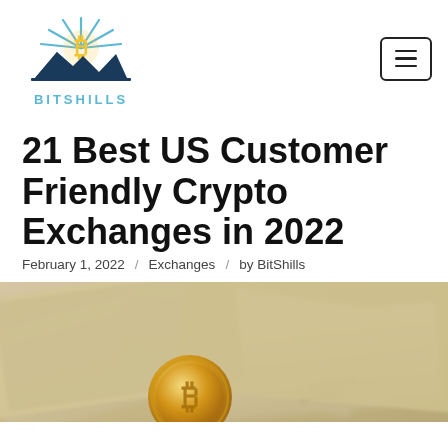[Figure (logo): BitShills logo: Bitcoin symbol with sun rays above mountain silhouette, with text BITSHILLS below in light blue]
21 Best US Customer Friendly Crypto Exchanges in 2022
February 1, 2022  /  Exchanges  /  by BitShills
[Figure (photo): Close-up photo of US dollar bills with a gold Bitcoin coin, blurred background showing currency]